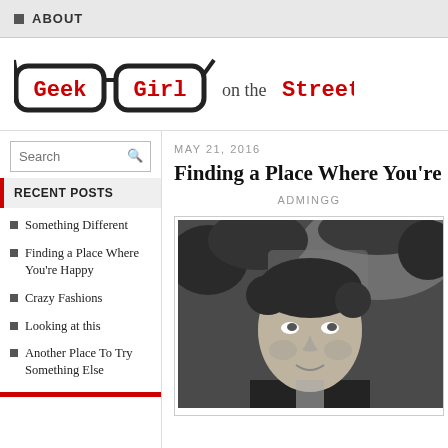ABOUT
[Figure (logo): Geek Girl on the Street blog logo with glasses illustration and stylized red/black text]
Search
RECENT POSTS
Something Different
Finding a Place Where You're Happy
Crazy Fashions
Looking at this
Another Place To Try Something Else
MAY 21, 2016
Finding a Place Where You're
ADMINGG
[Figure (photo): Black and white portrait photo of a woman looking upward, smiling, with trees in the background]